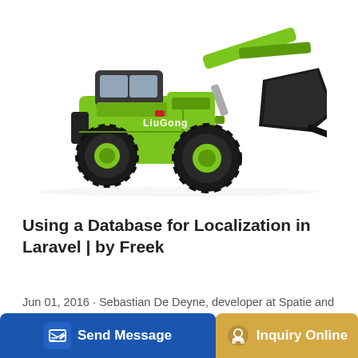[Figure (photo): A bright green and black LiuGong wheel loader (front loader / construction machine) on a white background, facing right with bucket raised slightly.]
Using a Database for Localization in Laravel | by Freek
Jun 01, 2016 · Sebastian De Deyne, developer at Spatie and creator of several Spatie packages, has written a post on default
[Figure (other): Bottom action bar with two buttons: 'Send Message' (blue, with edit icon) and 'Inquiry Online' (gold/tan, with headset icon)]